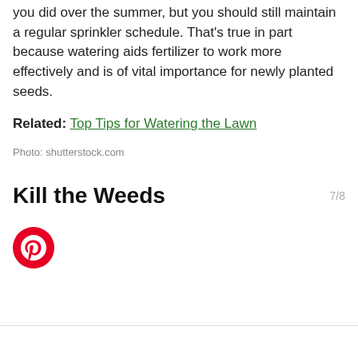you did over the summer, but you should still maintain a regular sprinkler schedule. That's true in part because watering aids fertilizer to work more effectively and is of vital importance for newly planted seeds.
Related: Top Tips for Watering the Lawn
Photo: shutterstock.com
Kill the Weeds
7/8
[Figure (logo): Pinterest circular logo icon in red and white]